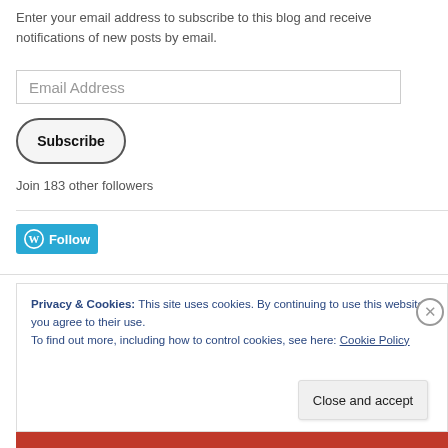Enter your email address to subscribe to this blog and receive notifications of new posts by email.
[Figure (other): Email address input field with placeholder text 'Email Address']
[Figure (other): Subscribe button with rounded pill shape]
Join 183 other followers
[Figure (other): WordPress Follow button in teal/blue color]
Privacy & Cookies: This site uses cookies. By continuing to use this website, you agree to their use.
To find out more, including how to control cookies, see here: Cookie Policy
[Figure (other): Close and accept button]